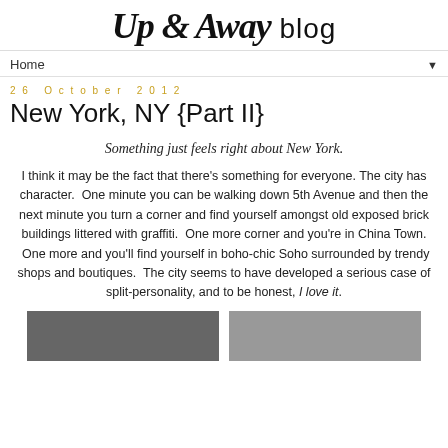Up & Away blog
Home ▼
26 October 2012
New York, NY {Part II}
Something just feels right about New York.
I think it may be the fact that there's something for everyone.  The city has character.  One minute you can be walking down 5th Avenue and then the next minute you turn a corner and find yourself amongst old exposed brick buildings littered with graffiti.  One more corner and you're in China Town.  One more and you'll find yourself in boho-chic Soho surrounded by trendy shops and boutiques.  The city seems to have developed a serious case of split-personality, and to be honest, I love it.
[Figure (photo): Two partial photos at the bottom of the page]